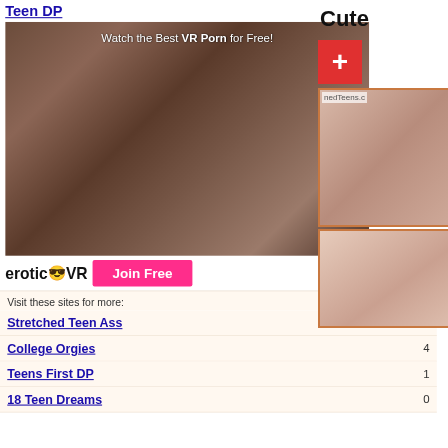Teen DP
[Figure (photo): Adult content advertisement for erotic VR website showing explicit imagery with overlay text 'Watch the Best VR Porn for Free!' and eroticVR logo with 'Join Free' button]
Visit these sites for more:                            Votes:
Stretched Teen Ass    5
College Orgies    4
Teens First DP    1
18 Teen Dreams    0
Cute
[Figure (photo): Thumbnail image of adult content]
[Figure (photo): Thumbnail image of adult content]